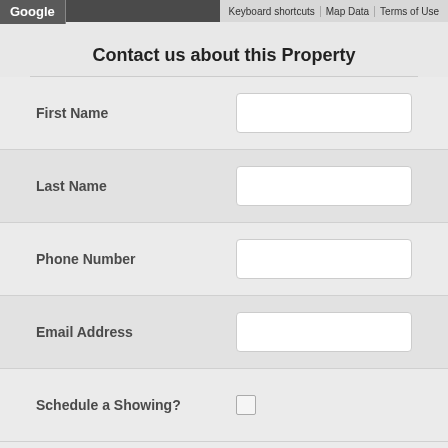Google | Keyboard shortcuts | Map Data | Terms of Use
Contact us about this Property
First Name
Last Name
Phone Number
Email Address
Schedule a Showing?
Comments